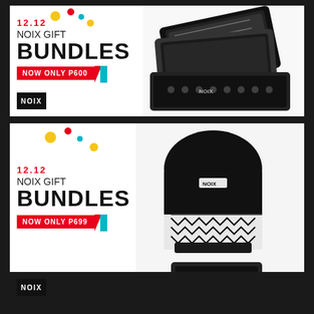[Figure (infographic): 12.12 NOIX Gift Bundles promotional banner 1 - NOW ONLY P600, showing black and white patterned accessories/pouches on white background with colorful dot decorations and NOIX logo]
[Figure (infographic): 12.12 NOIX Gift Bundles promotional banner 2 - NOW ONLY P699, showing black backpack with geometric pattern and matching wallet/pouch on white background with colorful dot decorations and NOIX logo]